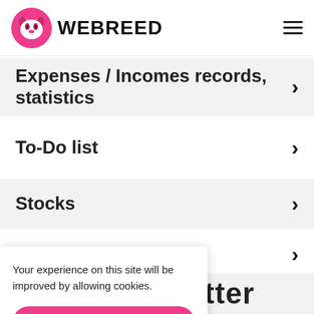WEBREED
Expenses / Incomes records, statistics
To-Do list
Stocks
(partially visible navigation item)
Your experience on this site will be improved by allowing cookies.
OK, I understand.
More infos
letter